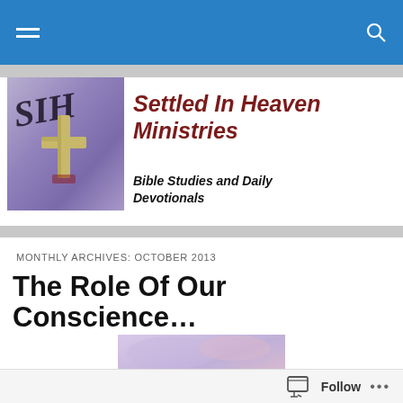[Figure (screenshot): Blue navigation bar with hamburger menu icon on left and search icon on right]
[Figure (logo): Settled In Heaven Ministries logo with cross and SIH text on purple/blue background]
Settled In Heaven Ministries
Bible Studies and Daily Devotionals
MONTHLY ARCHIVES: OCTOBER 2013
The Role Of Our Conscience…
[Figure (illustration): Partial article image with purple/green tones showing a building or landscape]
Follow ...